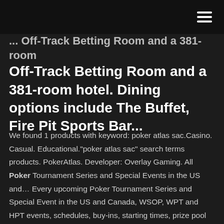Off-Track Betting Room and a 381-room hotel. Dining options include The Buffet, Fire Pit Sports Bar...
We found 1 products with keyword: poker atlas sac.Casino. Casual. Educational."poker atlas sac" search terms products. PokerAtlas. Developer: Overlay Gaming. All Poker Tournament Series and Special Events in the US and… Every upcoming Poker Tournament Series and Special Event in the US and Canada, WSOP, WPT and HPT events, schedules, buy-ins, starting times, prize pool Upper Peninsula MI Poker Rooms, Tournaments, and Reviews PokerAtlas has complete information on Poker Rooms, Tournament Schedules, Player Reviews, and Promotions in Upper Peninsula Michigan.